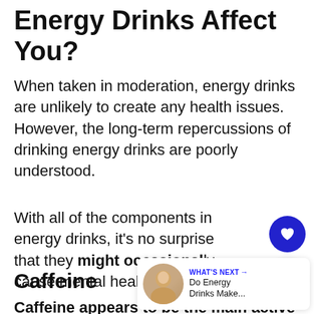Energy Drinks Affect You?
When taken in moderation, energy drinks are unlikely to create any health issues. However, the long-term repercussions of drinking energy drinks are poorly understood.
With all of the components in energy drinks, it's no surprise that they might occasionally cause mental health problems.
Caffeine
Caffeine appears to be the main active